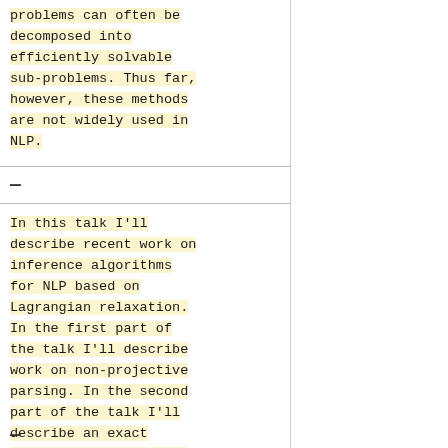problems can often be decomposed into efficiently solvable sub-problems. Thus far, however, these methods are not widely used in NLP.
In this talk I'll describe recent work on inference algorithms for NLP based on Lagrangian relaxation. In the first part of the talk I'll describe work on non-projective parsing. In the second part of the talk I'll describe an exact decoding algorithm for syntax-based